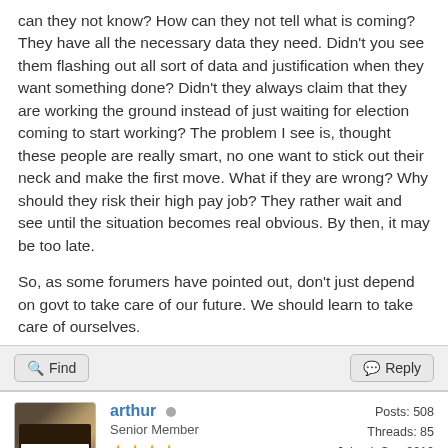can they not know? How can they not tell what is coming? They have all the necessary data they need. Didn't you see them flashing out all sort of data and justification when they want something done? Didn't they always claim that they are working the ground instead of just waiting for election coming to start working? The problem I see is, thought these people are really smart, no one want to stick out their neck and make the first move. What if they are wrong? Why should they risk their high pay job? They rather wait and see until the situation becomes real obvious. By then, it may be too late.

So, as some forumers have pointed out, don't just depend on govt to take care of our future. We should learn to take care of ourselves.
Find
Reply
arthur  Senior Member  Posts: 508  Threads: 85  Joined: Sep 2010  Reputation: 10